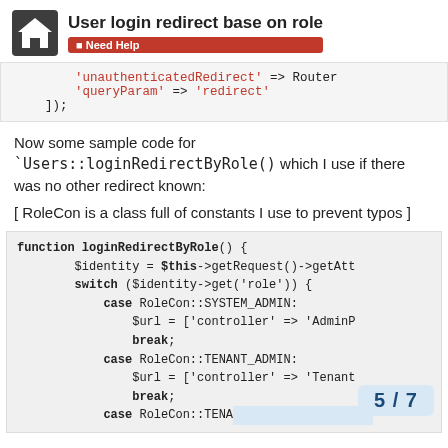User login redirect base on role
Need Help
'unauthenticatedRedirect' => Router
'queryParam' => 'redirect'
]);
Now some sample code for `Users::loginRedirectByRole() which I use if there was no other redirect known:
[ RoleCon is a class full of constants I use to prevent typos ]
function loginRedirectByRole() {
    $identity = $this->getRequest()->getAtt
    switch ($identity->get('role')) {
        case RoleCon::SYSTEM_ADMIN:
            $url = ['controller' => 'AdminP
            break;
        case RoleCon::TENANT_ADMIN:
            $url = ['controller' => 'Tenant
            break;
        case RoleCon::TENA
5 / 7